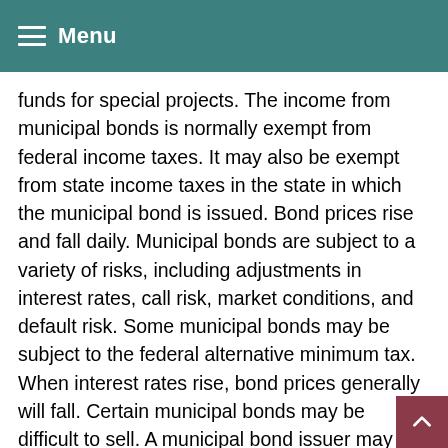Menu
funds for special projects. The income from municipal bonds is normally exempt from federal income taxes. It may also be exempt from state income taxes in the state in which the municipal bond is issued. Bond prices rise and fall daily. Municipal bonds are subject to a variety of risks, including adjustments in interest rates, call risk, market conditions, and default risk. Some municipal bonds may be subject to the federal alternative minimum tax. When interest rates rise, bond prices generally will fall. Certain municipal bonds may be difficult to sell. A municipal bond issuer may be unable to make interest or principal payments, which may lead to the issuer defaulting on the bond. If this occurs, the municipal bond may have little or no value. If a bond is purchased at a premium, it may result in realized losses. It's possible that the interest on a municipal bond may be determined to be taxable after purchase.